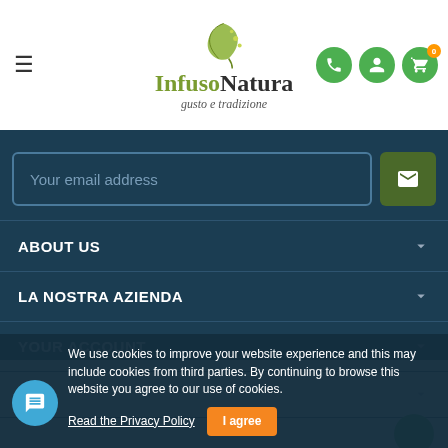[Figure (logo): InfusoNatura logo with leaf graphic and tagline 'gusto e tradizione']
Your email address
ABOUT US
LA NOSTRA AZIENDA
YOUR ACCOUNT
STORE INFORMATION
We use cookies to improve your website experience and this may include cookies from third parties. By continuing to browse this website you agree to our use of cookies.
Read the Privacy Policy
I agree